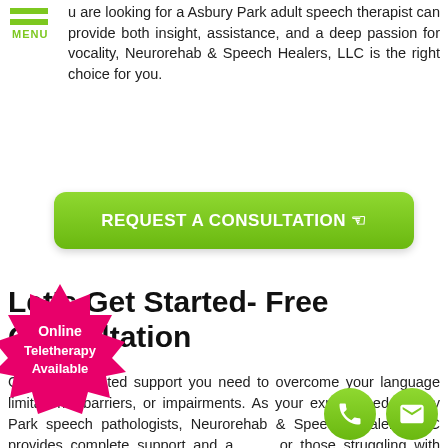MENU
u are looking for a Asbury Park adult speech therapist can provide both insight, assistance, and a deep passion for vocality, Neurorehab & Speech Healers, LLC is the right choice for you.
[Figure (other): Green rounded button labeled REQUEST A CONSULTATION with a hand pointer icon]
Let's Get Started- Free Consultation
Get the dedicated support you need to overcome your language limitations, barriers, or impairments. As your experienced Asbury Park speech pathologists, Neurorehab & Speech Healers, LLC provides complete support and a... or those struggling with speech disorders. With ...erapy, home therapy, or virtual speech ...ake it easy for you to get the care that you n...
[Figure (other): Pink starburst badge with text 'Online Teletherapy Available' in white bold font]
[Figure (other): Two green circle icons: phone handset and envelope (email) in bottom right corner]